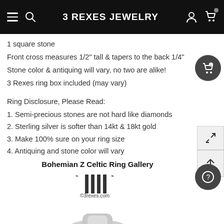3 REXES JEWELRY
1 square stone
Front cross measures 1/2" tall & tapers to the back 1/4"
Stone color & antiquing will vary, no two are alike!
3 Rexes ring box included (may vary)
Ring Disclosure, Please Read:
1. Semi-precious stones are not hard like diamonds
2. Sterling silver is softer than 14kt & 18kt gold
3. Make 100% sure on your ring size
4. Antiquing and stone color will vary
Bohemian Z Celtic Ring Gallery
[Figure (logo): 3 Rexes logo with stylized vertical bars and figures, copyright 3rexes.com]
[Figure (photo): Partial view of a silver Celtic ring]